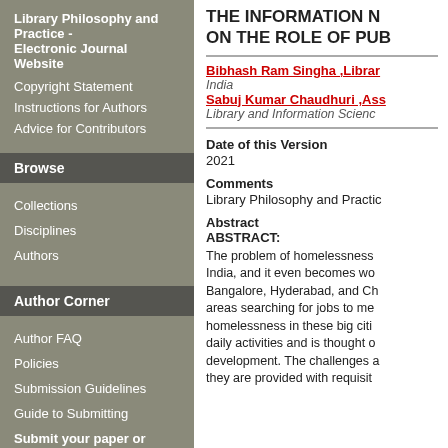Library Philosophy and Practice - Electronic Journal Website
Copyright Statement
Instructions for Authors
Advice for Contributors
Browse
Collections
Disciplines
Authors
Author Corner
Author FAQ
Policies
Submission Guidelines
Guide to Submitting
Submit your paper or article
Links
THE INFORMATION N... ON THE ROLE OF PUB...
Bibhash Ram Singha ,Librar... India
Sabuj Kumar Chaudhuri ,Ass... Library and Information Scienc...
Date of this Version
2021
Comments
Library Philosophy and Practic...
Abstract
ABSTRACT:
The problem of homelessness... India, and it even becomes wo... Bangalore, Hyderabad, and Ch... areas searching for jobs to me... homelessness in these big citi... daily activities and is thought o... development. The challenges a... they are provided with requisit...